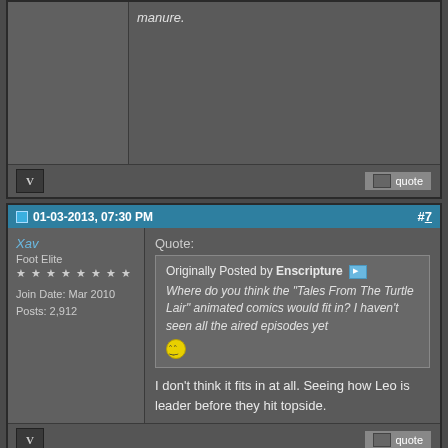manure.
quote
01-03-2013, 07:30 PM #7
Xav
Foot Elite
★★★★★★★★
Join Date: Mar 2010
Posts: 2,912
Quote:
Originally Posted by Enscripture
Where do you think the "Tales From The Turtle Lair" animated comics would fit in? I haven't seen all the aired episodes yet 🙂
I don't think it fits in at all. Seeing how Leo is leader before they hit topside.
quote
01-03-2013, 07:34 PM #8
Jephael
Quote: